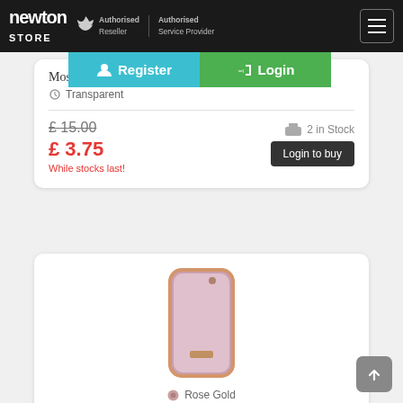Newton Store — Authorised Reseller, Authorised Service Provider
Moshi iGlaze XT snap c...
Transparent
£ 15.00
£ 3.75
While stocks last!
2 in Stock
Login to buy
[Figure (photo): Ted Baker iPhone case in Rose Gold / Nude color, pink with rose gold frame]
Rose Gold
Ted Baker case Rose Gold Nude